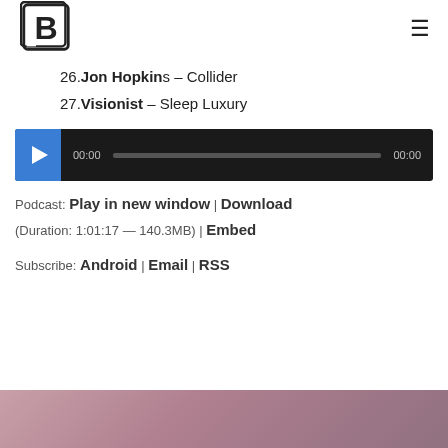B3 logo and hamburger menu
26. Jon Hopkins – Collider
27. Visionist – Sleep Luxury
[Figure (screenshot): Audio player widget with play button, 00:00 start time, progress bar, and 00:00 end time on dark background]
Podcast: Play in new window | Download (Duration: 1:01:17 — 140.3MB) | Embed
Subscribe: Android | Email | RSS